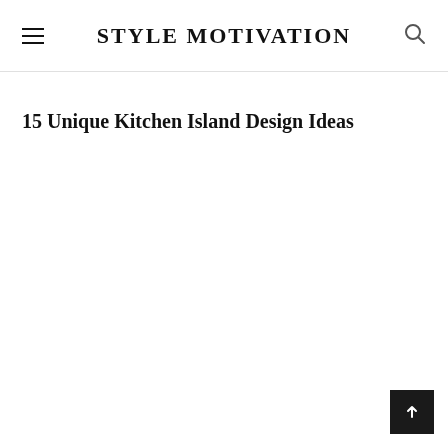STYLE MOTIVATION
15 Unique Kitchen Island Design Ideas